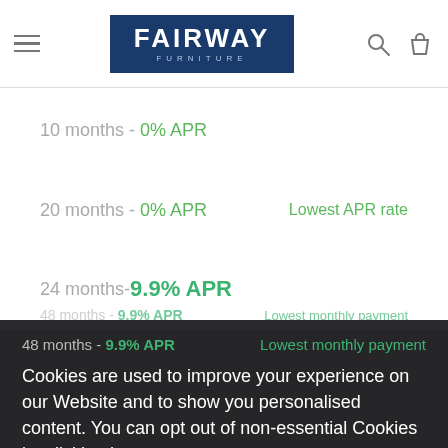Fairway Furniture
10 months - 0% APR
20 months - 0% APR  |  Lowest APR rate
24 months - 9.9% APR
48 months - 9.9% APR  Lowest monthly payment
Cookies are used to improve your experience on our Website and to show you personalised content. You can opt out of non-essential Cookies by clicking here.
ACCEPT AND CLOSE
price is £1,399.00 with a deposit of £139.90 (10%) and your selected term is 24 months Classic Credit 9.9% APR), you would pay